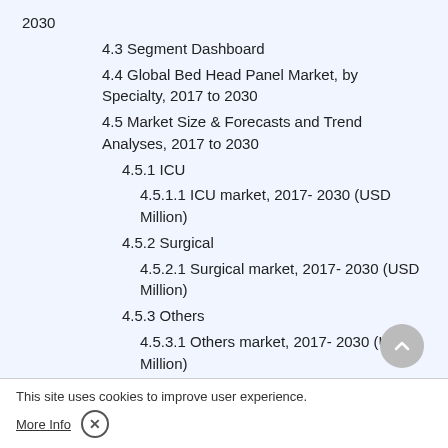2030
4.3 Segment Dashboard
4.4 Global Bed Head Panel Market, by Specialty, 2017 to 2030
4.5 Market Size & Forecasts and Trend Analyses, 2017 to 2030
4.5.1 ICU
4.5.1.1 ICU market, 2017- 2030 (USD Million)
4.5.2 Surgical
4.5.2.1 Surgical market, 2017- 2030 (USD Million)
4.5.3 Others
4.5.3.1 Others market, 2017- 2030 (USD Million)
Chapter 5 Bed Head Panel Market: Segment Analysis By End-use, 2017 - 2030 (U...
5.1 Definition an...
5.2 End-use Market Share Analysis, 2021 &